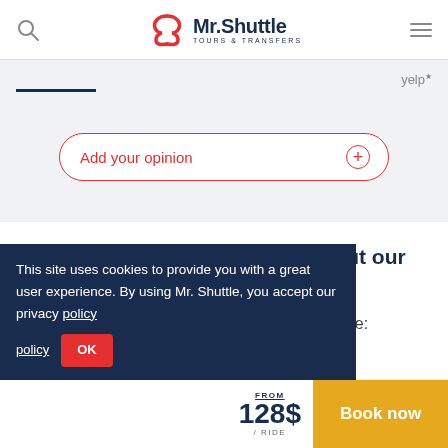Mr. Shuttle TOURS & TRANSFERS
Add your opinion
Few more useful information about our service:
Pleas read detailed information about our service:
This site uses cookies to provide you with a great user experience. By using Mr. Shuttle, you accept our privacy policy
FROM 128$ / RIDE
Book now